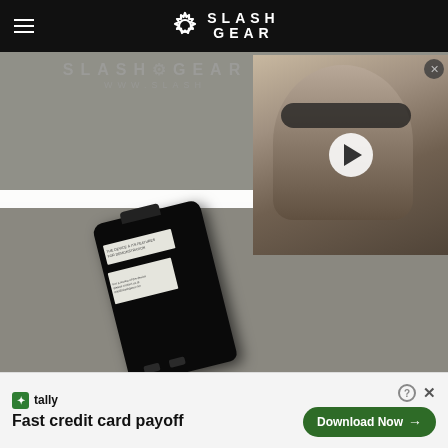SlashGear
[Figure (screenshot): SlashGear website screenshot showing a black mobile device/phone on a gray surface, with SlashGear watermark overlay. An embedded video thumbnail shows a man wearing aviator sunglasses with a play button overlay. A white bar partially obscures the top watermark text reading 'SLASH GEAR' and 'WWW.SLASH'.]
[Figure (advertisement): Tally app advertisement banner at bottom. Green Tally icon, text 'Fast credit card payoff', and a dark green 'Download Now' button with arrow.]